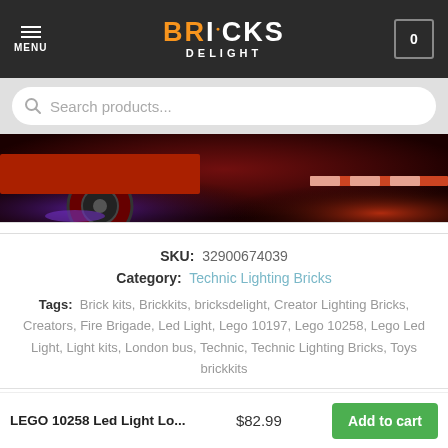MENU | BRICKS DELIGHT | 0
Search products...
[Figure (photo): Product photo showing vehicle wheels and chassis with orange and red lighting, dark background]
SKU: 32900674039
Category: Technic Lighting Bricks
Tags: Brick kits, Brickkits, bricksdelight, Creator Lighting Bricks, Creators, Fire Brigade, Led Light, Lego 10197, Lego 10258, Lego Led Light, Light kits, London bus, Technic, Technic Lighting Bricks, Toys brickkits
Related products
LEGO 10258 Led Light Lo... $82.99 Add to cart